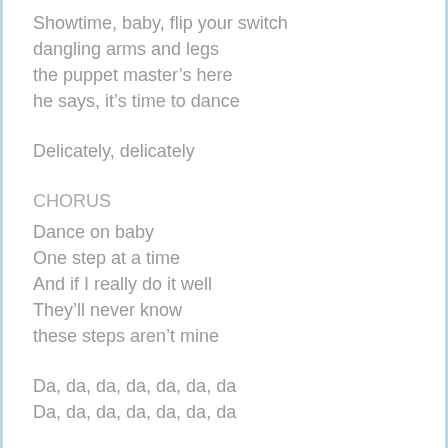Showtime, baby, flip your switch
dangling arms and legs
the puppet master's here
he says, it’s time to dance
Delicately, delicately
CHORUS
Dance on baby
One step at a time
And if I really do it well
They’ll never know
these steps aren’t mine
Da, da, da, da, da, da, da
Da, da, da, da, da, da, da
###